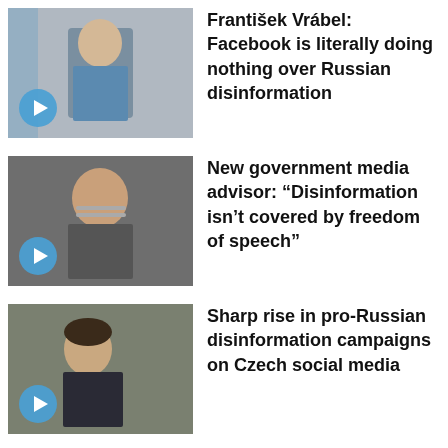František Vrábel: Facebook is literally doing nothing over Russian disinformation
New government media advisor: “Disinformation isn’t covered by freedom of speech”
Sharp rise in pro-Russian disinformation campaigns on Czech social media
FEATURED
[Figure (photo): Featured image showing a lamp or hat-like object on a brown/sepia background]